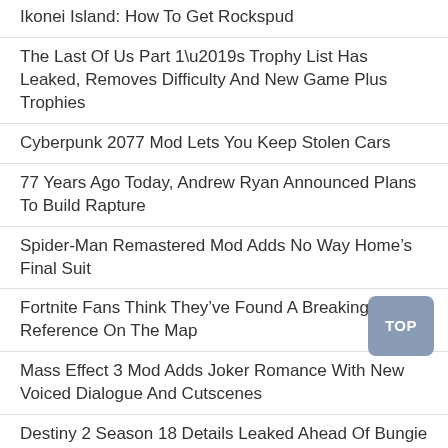Ikonei Island: How To Get Rockspud
The Last Of Us Part 1’s Trophy List Has Leaked, Removes Difficulty And New Game Plus Trophies
Cyberpunk 2077 Mod Lets You Keep Stolen Cars
77 Years Ago Today, Andrew Ryan Announced Plans To Build Rapture
Spider-Man Remastered Mod Adds No Way Home’s Final Suit
Fortnite Fans Think They’ve Found A Breaking Bad Reference On The Map
Mass Effect 3 Mod Adds Joker Romance With New Voiced Dialogue And Cutscenes
Destiny 2 Season 18 Details Leaked Ahead Of Bungie Showcase